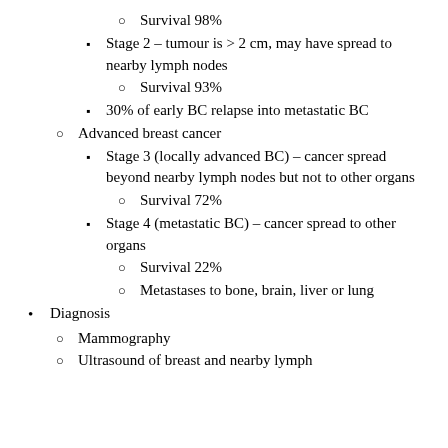Survival 98%
Stage 2 – tumour is > 2 cm, may have spread to nearby lymph nodes
Survival 93%
30% of early BC relapse into metastatic BC
Advanced breast cancer
Stage 3 (locally advanced BC) – cancer spread beyond nearby lymph nodes but not to other organs
Survival 72%
Stage 4 (metastatic BC) – cancer spread to other organs
Survival 22%
Metastases to bone, brain, liver or lung
Diagnosis
Mammography
Ultrasound of breast and nearby lymph